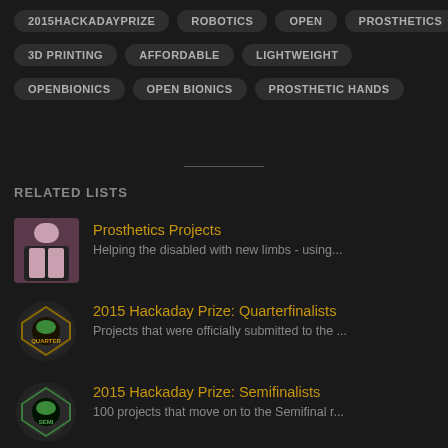2015HACKADAYPRIZE
ROBOTICS
OPEN
PROSTHETICS
3D PRINTING
AFFORDABLE
LIGHTWEIGHT
OPENBIONICS
OPEN BIONICS
PROSTHETIC HANDS
RELATED LISTS
Prosthetics Projects
Helping the disabled with new limbs - using...
2015 Hackaday Prize: Quarterfinalists
Projects that were officially submitted to the ...
2015 Hackaday Prize: Semifinalists
100 projects that move on to the Semifinal r...